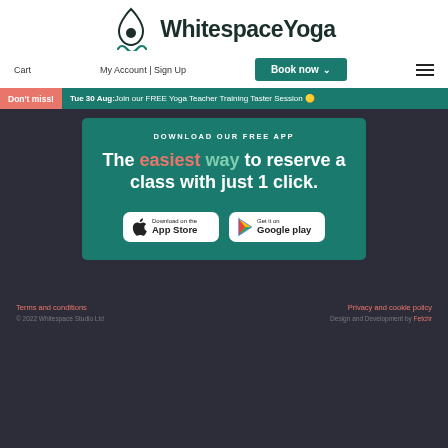[Figure (logo): Whitespace Yoga logo with flame/drop icon and infinity squiggle]
Cart  My Account | Sign Up  Book now ∨  ≡
Don't miss!  Tue 30 Aug: Join our FREE Yoga Teacher Training Taster Session 🟡
DOWNLOAD OUR FREE APP
The easiest way to reserve a class with just 1 click.
[Figure (logo): Download on the App Store button]
[Figure (logo): Get it on Google play button]
Terms and conditions    Privacy and cookie policy    © 2022 Whitespace Studio Ltd    Design and Development by Fetchr